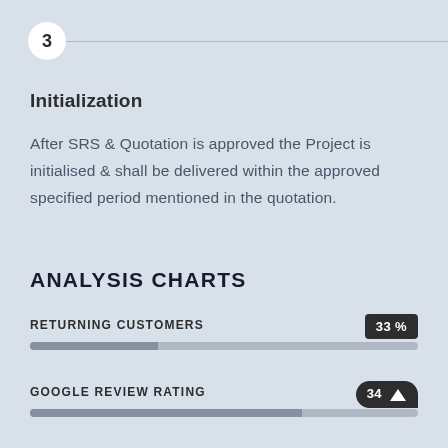3
Initialization
After SRS & Quotation is approved the Project is initialised & shall be delivered within the approved specified period mentioned in the quotation.
ANALYSIS CHARTS
[Figure (infographic): Returning Customers bar chart showing 33% fill with badge label '33 %']
[Figure (infographic): Google Review Rating bar chart showing approximately 70% fill with badge label '34' and an upward arrow icon]